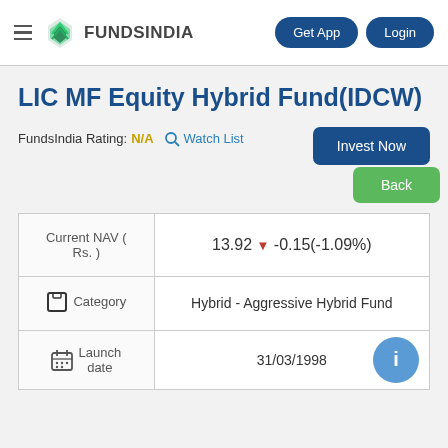FundsIndia | Get App | Login
LIC MF Equity Hybrid Fund(IDCW)
FundsIndia Rating: N/A
Watch List | Invest Now | Back
| Field | Value |
| --- | --- |
| Current NAV ( Rs. ) | 13.92 ▼ -0.15(-1.09%) |
| Category | Hybrid - Aggressive Hybrid Fund |
| Launch date | 31/03/1998 |